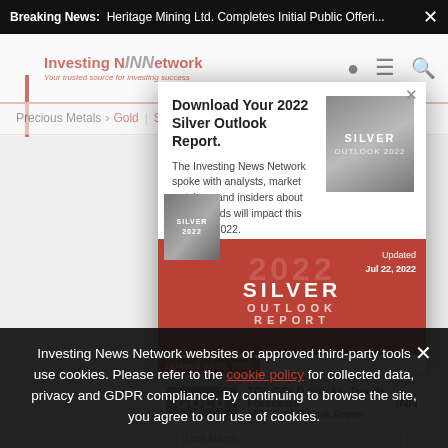Breaking News: Heritage Mining Ltd. Completes Initial Public Offeri...
[Figure (screenshot): Investing News Network website header with logo, navigation icons, and nav bar showing Precious Metals > Gold | Silver | Platinum]
[Figure (screenshot): Silver Outlook Report 2022 popup modal with book image, title 'Download Your 2022 Silver Outlook Report', description text, and red overlay with '2022 SILVER OUTLOOK REPORT' text, Updated Jul 22 2022 badge]
[Figure (screenshot): Gold Outlook Report banner with GOLD logo, 'TOP GOLD Stocks, Trends, Forecasts' and '2022 Gold Outlook Report' text]
Investing News Network websites or approved third-party tools use cookies. Please refer to the cookie policy for collected data, privacy and GDPR compliance. By continuing to browse the site, you agree to our use of cookies.